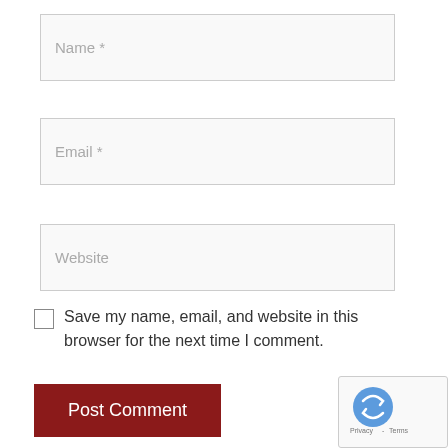Name *
Email *
Website
Save my name, email, and website in this browser for the next time I comment.
Post Comment
Yes, I would like to receive emails from Heroes in Transition. Sign me up!
[Figure (logo): Google reCAPTCHA badge with rotating arrows logo and Privacy - Terms text]